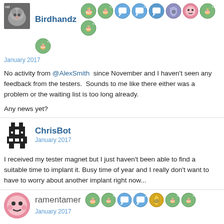Birdhandz — January 2017
No activity from @AlexSmith  since November and I haven't seen any feedback from the testers.  Sounds to me like there either was a problem or the waiting list is too long already.

Any news yet?
ChrisBot — January 2017
I received my tester magnet but I just haven't been able to find a suitable time to implant it. Busy time of year and I really don't want to have to worry about another implant right now...
ramentamer — January 2017
That makes sense.  And I imagine the testing, once it gets in your hands, will